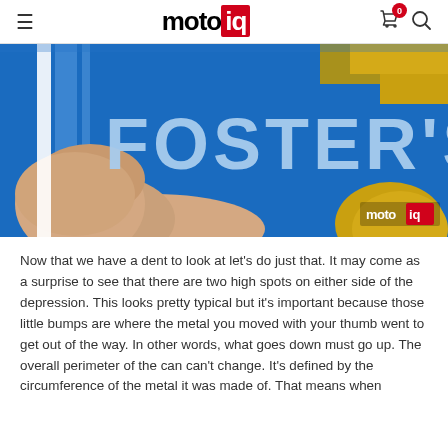motoiq
[Figure (photo): Close-up photo of a blue Foster's beer can being held by a hand, with gold rim visible at top right. The Foster's logo is prominently displayed in large light blue letters on a blue background. A motoiq watermark is in the bottom right corner.]
Now that we have a dent to look at let's do just that.  It may come as a surprise to see that there are two high spots on either side of the depression.  This looks pretty typical but it's important because those little bumps are where the metal you moved with your thumb went to get out of the way.  In other words, what goes down must go up.  The overall perimeter of the can can't change.  It's defined by the circumference of the metal it was made of. That means when